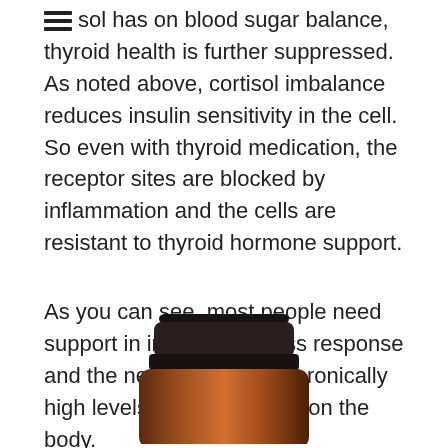sol has on blood sugar balance, thyroid health is further suppressed. As noted above, cortisol imbalance reduces insulin sensitivity in the cell. So even with thyroid medication, the receptor sites are blocked by inflammation and the cells are resistant to thyroid hormone support.
As you can see, most people need support in improving stress response and the negative impact chronically high levels of cortisol have on the body.
[Figure (photo): Bottom portion of an amber glass supplement/product bottle with a dark cap visible at the top of the image, cropped at the bottom of the page.]